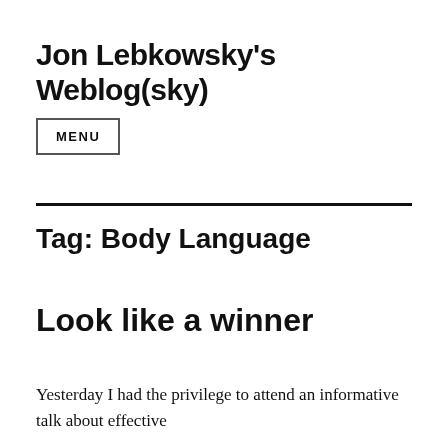Jon Lebkowsky's Weblog(sky)
MENU
Tag: Body Language
Look like a winner
Yesterday I had the privilege to attend an informative talk about effective